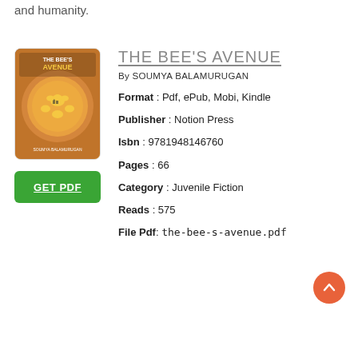and humanity.
[Figure (illustration): Book cover for 'The Bee's Avenue' showing cartoon bees on a colorful background with the title and author name Soumya Balamurugan]
THE BEE'S AVENUE
By SOUMYA BALAMURUGAN
Format : Pdf, ePub, Mobi, Kindle
Publisher : Notion Press
Isbn : 9781948146760
Pages : 66
Category : Juvenile Fiction
Reads : 575
File Pdf: the-bee-s-avenue.pdf